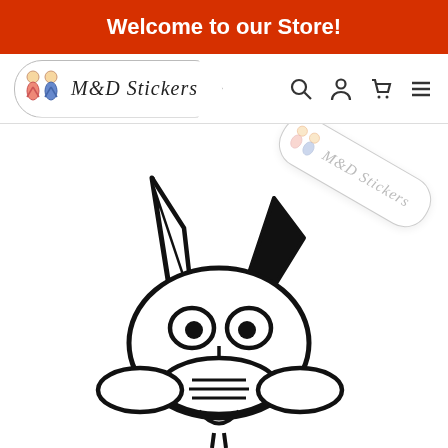Welcome to our Store!
[Figure (logo): M&D Stickers logo in a pill/tab shape with two cartoon children figures on the left and italic serif text reading M&D Stickers]
[Figure (illustration): Cartoon Wile E. Coyote face/head sticker outline in black on white background, with M&D Stickers watermark logo rotated 30 degrees in upper right]